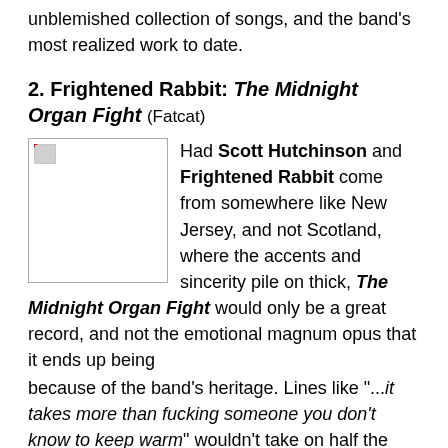unblemished collection of songs, and the band's most realized work to date.
2. Frightened Rabbit: The Midnight Organ Fight (Fatcat)
[Figure (photo): A small broken/placeholder image thumbnail floated left beside the paragraph text.]
Had Scott Hutchinson and Frightened Rabbit come from somewhere like New Jersey, and not Scotland, where the accents and sincerity pile on thick, The Midnight Organ Fight would only be a great record, and not the emotional magnum opus that it ends up being because of the band's heritage. Lines like "...it takes more than fucking someone you don't know to keep warm" wouldn't take on half the weight they do when sung in the vocalist's squeaky, vulnerable drawl than if they were to be delivered in an American dialect. The level of urgency Hutchinson is able to channel through his bitter words and unguarded voice is alarming, making us passionately resent the unfaithful ex he sings about with the same ferocity that he does. On the epic, arresting "Keep Yourself Warm," he bellows over pulsating open chords, "Did you really think